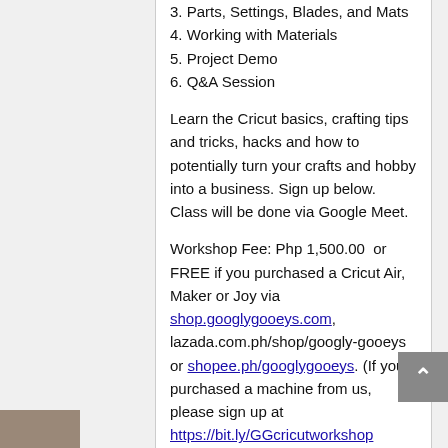3. Parts, Settings, Blades, and Mats
4. Working with Materials
5. Project Demo
6. Q&A Session
Learn the Cricut basics, crafting tips and tricks, hacks and how to potentially turn your crafts and hobby into a business. Sign up below. Class will be done via Google Meet.
Workshop Fee: Php 1,500.00  or FREE if you purchased a Cricut Air, Maker or Joy via shop.googlygooeys.com, lazada.com.ph/shop/googly-gooeys or shopee.ph/googlygooeys. (If you purchased a machine from us, please sign up at https://bit.ly/GGcricutworkshop instead.)